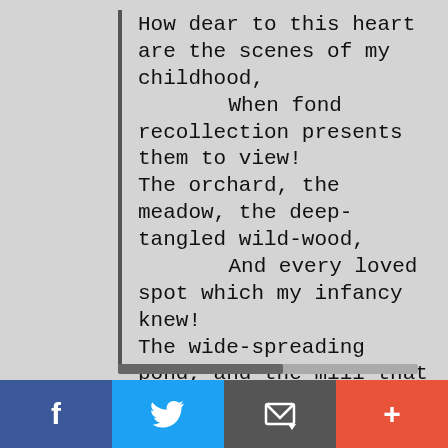How dear to this heart are the scenes of my childhood,
    When fond recollection presents them to view!
The orchard, the meadow, the deep-tangled wild-wood,
    And every loved spot which my infancy knew!
The wide-spreading pond, and the mill that stood by it,
    The bridge, and the rock where the cataract fell,
The cot of my father, the dairy-house nigh it,
    And e'en the rude bucket that hung in the well—
The old oaken bucket, the iron-bound bucket,
The moss-covered bucket which hung in the well.
[Figure (other): Social sharing bottom bar with Facebook (blue), Twitter (light blue), share/email (dark gray), and plus/add (red-orange) buttons showing respective icons]